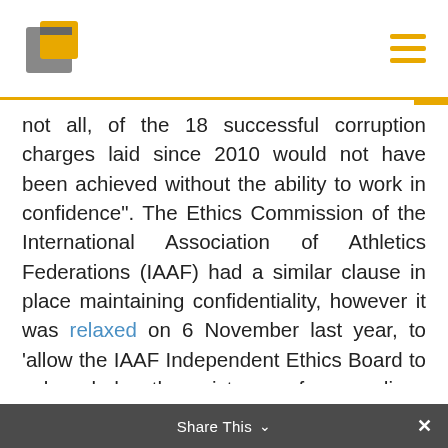not all, of the 18 successful corruption charges laid since 2010 would not have been achieved without the ability to work in confidence". The Ethics Commission of the International Association of Athletics Federations (IAAF) had a similar clause in place maintaining confidentiality, however it was relaxed on 6 November last year, to ‘allow the IAAF Independent Ethics Board to acknowledge the existence of proceedings currently before it and to comment on their current status without divulging details of the case’. Similar rules are in place regarding FIFA Ethics
Share This